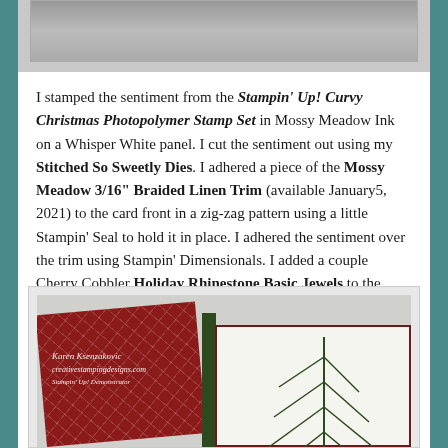[Figure (photo): Partial photo at top of page (cropped, mostly gray)]
I stamped the sentiment from the Stampin' Up! Curvy Christmas Photopolymer Stamp Set in Mossy Meadow Ink on a Whisper White panel. I cut the sentiment out using my Stitched So Sweetly Dies. I adhered a piece of the Mossy Meadow 3/16" Braided Linen Trim (available January5, 2021) to the card front in a zig-zag pattern using a little Stampin' Seal to hold it in place. I adhered the sentiment over the trim using Stampin' Dimensionals. I added a couple Cherry Cobbler Holiday Rhinestone Basic Jewels to the sentiment.
[Figure (photo): Photo of a Christmas card with red patterned paper cover partially open, revealing a white panel with green pine branch stamp image. Watermark reads Karen Ksenzakovic creativestampingdesigns.com]